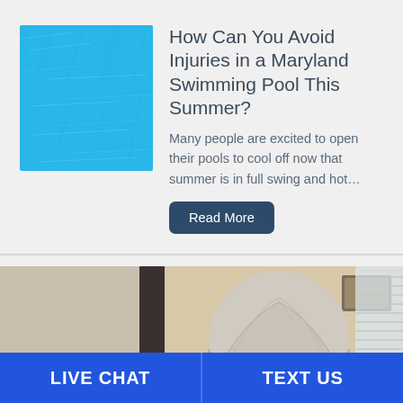[Figure (photo): Blue swimming pool water texture, bright cyan color]
How Can You Avoid Injuries in a Maryland Swimming Pool This Summer?
Many people are excited to open their pools to cool off now that summer is in full swing and hot…
Read More
[Figure (photo): Back of head of older person with gray hair, indoor setting]
LIVE CHAT
TEXT US